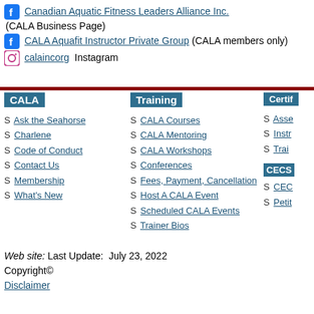Canadian Aquatic Fitness Leaders Alliance Inc. (CALA Business Page)
CALA Aquafit Instructor Private Group (CALA members only)
calaincorg  Instagram
CALA
Training
Certif...
S Ask the Seahorse
S Charlene
S Code of Conduct
S Contact Us
S Membership
S What's New
S CALA Courses
S CALA Mentoring
S CALA Workshops
S Conferences
S Fees, Payment, Cancellation
S Host A CALA Event
S Scheduled CALA Events
S Trainer Bios
S Asse...
S Instr...
S Trai...
CECS
S CEC...
S Petit...
Web site: Last Update:  July 23, 2022
Copyright©
Disclaimer